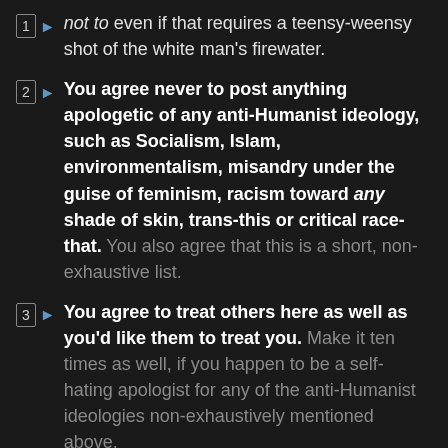not to even if that requires a teensy-weensy shot of the white man's firewater.
You agree never to post anything apologetic of any anti-Humanist ideology, such as Socialism, Islam, environmentalism, misandry under the guise of feminism, racism toward any shade of skin, trans-this or critical race-that. You also agree that this is a short, non-exhaustive list.
You agree to treat others here as well as you'd like them to treat you. Make it ten times as well, if you happen to be a self-hating apologist for any of the anti-Humanist ideologies non-exhaustively mentioned above.
You agree never to invoke tolerance (or free speech) as justification for posting content in